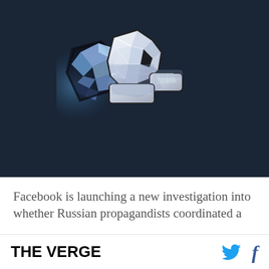[Figure (photo): A low-poly geometric 3D Facebook 'like' thumbs-up icon, glowing blue and white, reflected on a dark surface against a dark teal/navy background]
Facebook is launching a new investigation into whether Russian propagandists coordinated a
THE VERGE